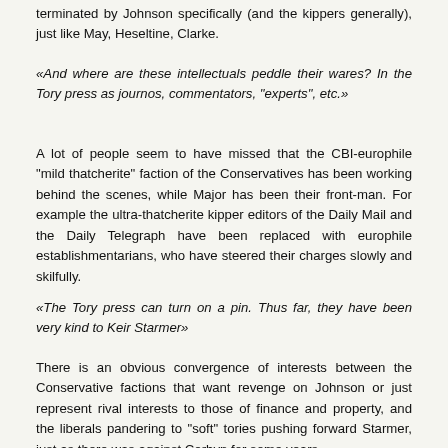terminated by Johnson specifically (and the kippers generally), just like May, Heseltine, Clarke.
«And where are these intellectuals peddle their wares? In the Tory press as journos, commentators, "experts", etc.»
A lot of people seem to have missed that the CBI-europhile "mild thatcherite" faction of the Conservatives has been working behind the scenes, while Major has been their front-man. For example the ultra-thatcherite kipper editors of the Daily Mail and the Daily Telegraph have been replaced with europhile establishmentarians, who have steered their charges slowly and skilfully.
«The Tory press can turn on a pin. Thus far, they have been very kind to Keir Starmer»
There is an obvious convergence of interests between the Conservative factions that want revenge on Johnson or just represent rival interests to those of finance and property, and the liberals pandering to "soft" tories pushing forward Starmer, just as there was against Corbyn for some years.